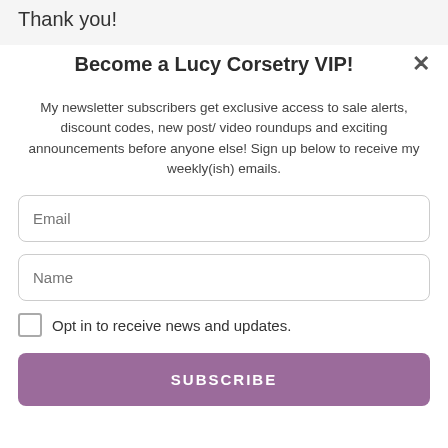Thank you!
Become a Lucy Corsetry VIP!
My newsletter subscribers get exclusive access to sale alerts, discount codes, new post/ video roundups and exciting announcements before anyone else! Sign up below to receive my weekly(ish) emails.
Email
Name
Opt in to receive news and updates.
SUBSCRIBE